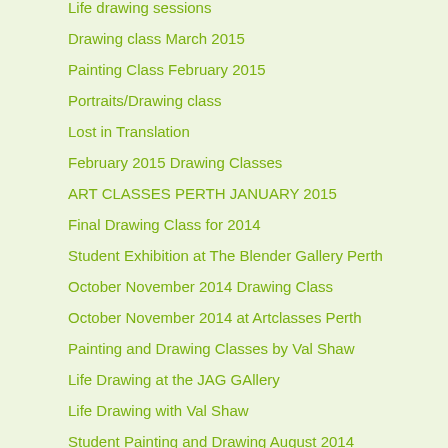Life drawing sessions
Drawing class March 2015
Painting Class February 2015
Portraits/Drawing class
Lost in Translation
February 2015 Drawing Classes
ART CLASSES PERTH JANUARY 2015
Final Drawing Class for 2014
Student Exhibition at The Blender Gallery Perth
October November 2014 Drawing Class
October November 2014 at Artclasses Perth
Painting and Drawing Classes by Val Shaw
Life Drawing at the JAG GAllery
Life Drawing with Val Shaw
Student Painting and Drawing August 2014
Hettie Rowley Wins Art Award in Joondalup